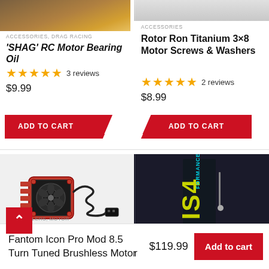[Figure (photo): Product photo of SHAG RC Motor Bearing Oil bottle top (partially cropped)]
ACCESSORIES, DRAG RACING
'SHAG' RC Motor Bearing Oil
★★★★★ 3 reviews
$9.99
[Figure (photo): Product photo of Rotor Ron Titanium 3×8 Motor Screws & Washers (partially cropped)]
ACCESSORIES
Rotor Ron Titanium 3×8 Motor Screws & Washers
★★★★★ 2 reviews
$8.99
ADD TO CART
ADD TO CART
[Figure (photo): Fantom Icon Pro Mod brushless motor with cooling fan and coiled wire connector]
[Figure (photo): Product photo of a black/yellow performance motor or product in packaging]
CONTROLLERS, MOTOR
Fantom Icon Pro Mod 8.5 Turn Tuned Brushless Motor
$119.99
Add to cart